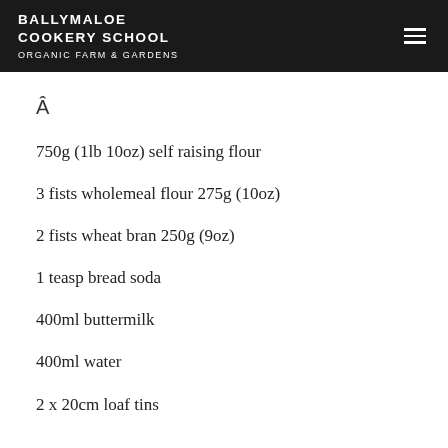BALLYMALOE COOKERY SCHOOL ORGANIC FARM & GARDENS
Â
750g (1lb 10oz) self raising flour
3 fists wholemeal flour 275g (10oz)
2 fists wheat bran 250g (9oz)
1 teasp bread soda
400ml buttermilk
400ml water
2 x 20cm loaf tins